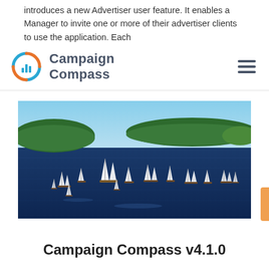introduces a new Advertiser user feature. It enables a Manager to invite one or more of their advertiser clients to use the application. Each
[Figure (logo): Campaign Compass logo with circular compass icon in blue and orange, beside the text 'Campaign Compass' in dark gray bold, with hamburger menu icon on the right]
[Figure (photo): Aerial photograph of many sailboats with white sails racing on deep blue water, with green forested islands in the background under a clear blue sky]
Campaign Compass v4.1.0